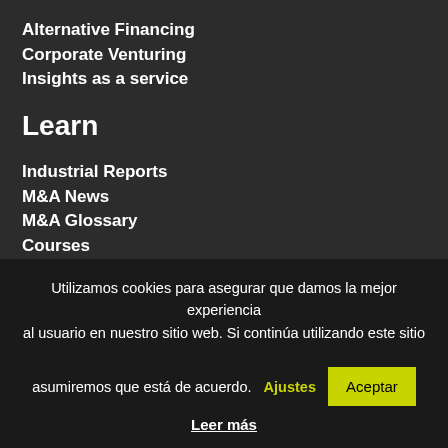Alternative Financing
Corporate Venturing
Insights as a service
Learn
Industrial Reports
M&A News
M&A Glossary
Courses
CONTACT
About US
Utilizamos cookies para asegurar que damos la mejor experiencia al usuario en nuestro sitio web. Si continúa utilizando este sitio asumiremos que está de acuerdo.
Ajustes
Aceptar
Leer más